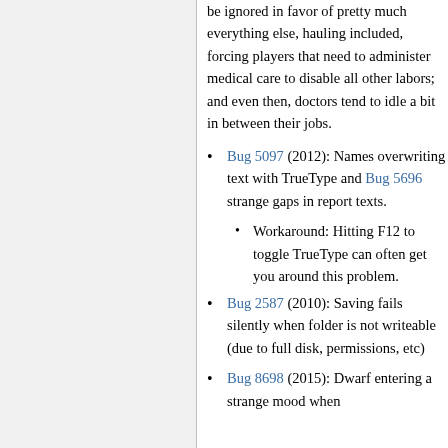be ignored in favor of pretty much everything else, hauling included, forcing players that need to administer medical care to disable all other labors; and even then, doctors tend to idle a bit in between their jobs.
Bug 5097 (2012): Names overwriting text with TrueType and Bug 5696 strange gaps in report texts.
Workaround: Hitting F12 to toggle TrueType can often get you around this problem.
Bug 2587 (2010): Saving fails silently when folder is not writeable (due to full disk, permissions, etc)
Bug 8698 (2015): Dwarf entering a strange mood when...